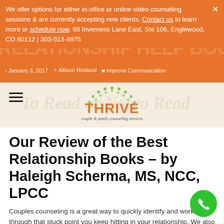We offer options for either in-office or online video counseling sessions & are currently accepting new clients. Contact us to learn more or schedule now. 68 Inverness Lane East, Ste 106, Englewood, CO 80112 | 303-513-8975
January 3, 2017 | Allison Rimland | Improve Communication
[Figure (logo): Thrive couple & family counseling services logo with green dotted arc and orange THRIVE text]
Our Review of the Best Relationship Books – by Haleigh Scherma, MS, NCC, LPCC
Couples counseling is a great way to quickly identify and work through that stuck point you keep hitting in your relationship. We also see many couples really start to understand their partner's